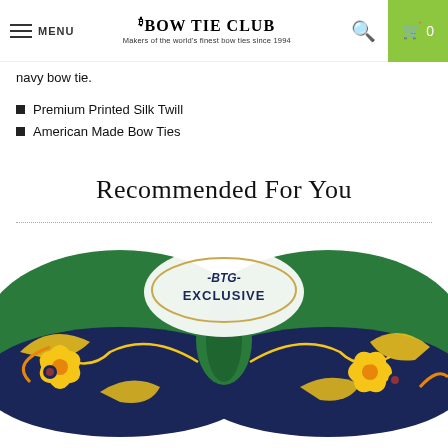MENU | THE BOW TIE CLUB - Makers of the world's finest bow ties since 1994 | Search | Cart 0
navy bow tie.
Premium Printed Silk Twill
American Made Bow Ties
Recommended For You
[Figure (photo): Green and navy blue bow tie with yellow and orange floral paisley pattern, shown with a BTG Exclusive badge overlay]